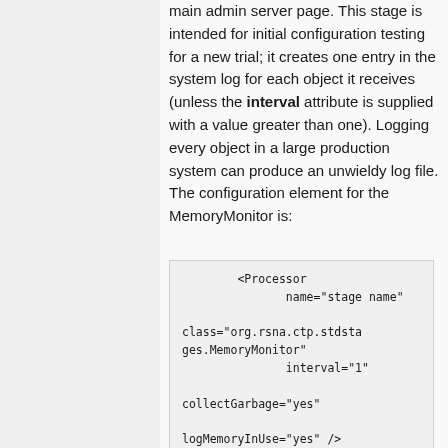main admin server page. This stage is intended for initial configuration testing for a new trial; it creates one entry in the system log for each object it receives (unless the interval attribute is supplied with a value greater than one). Logging every object in a large production system can produce an unwieldy log file. The configuration element for the MemoryMonitor is:
<Processor
    name="stage name"

class="org.rsna.ctp.stdstages.MemoryMonitor"
    interval="1"

collectGarbage="yes"

logMemoryInUse="yes" />